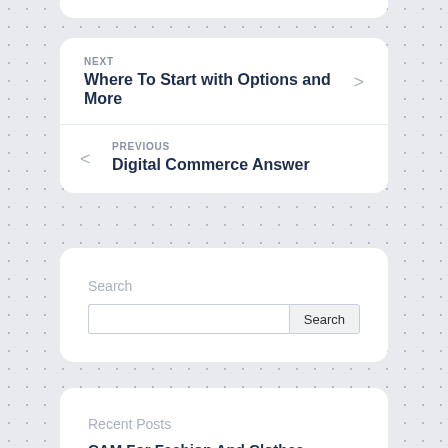NEXT
Where To Start with Options and More
PREVIOUS
Digital Commerce Answer
Search
Recent Posts
CAM For Fashion And Clothes Designing